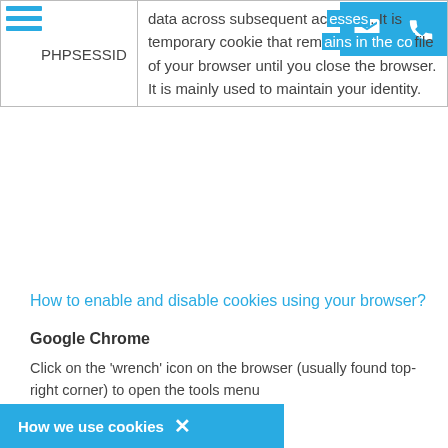|  |  |
| --- | --- |
| PHPSESSID | data across subsequent accesses. It is temporary cookie that remains in the cookie file of your browser until you close the browser. It is mainly used to maintain your identity. |
How to enable and disable cookies using your browser?
Google Chrome
Click on the 'wrench' icon on the browser (usually found top-right corner) to open the tools menu
From the tools menu select 'Options'
Click the 'Under the Hood' tab from the menu on the left?
In the 'Privacy' section, select the 'Content settings' button
To enable cookies: select 'Allow local data to be set' option
ock all cookies' option
How we use cookies ✕